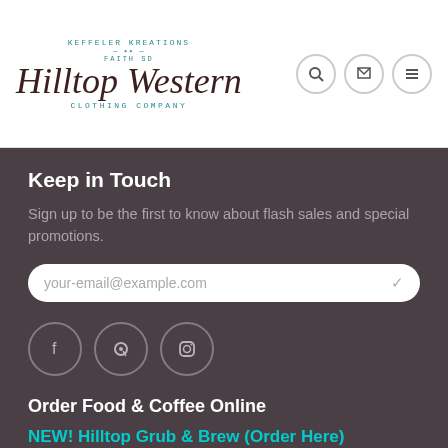[Figure (logo): Keffeler Kreations Faith SD - Hilltop Western Clothing Company logo with script text]
Keep in Touch
Sign up to be the first to know about flash sales and special promotions.
[Figure (other): Email input field with placeholder text: your-email@example.com]
[Figure (other): Social media icons: Facebook, Pinterest, Instagram]
Order Food & Coffee Online
NEW! Hilltop Grub & Brew (Order Here)